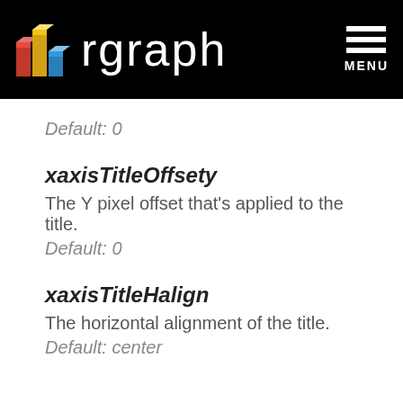rgraph MENU
Default: 0
xaxisTitleOffsety
The Y pixel offset that's applied to the title.
Default: 0
xaxisTitleHalign
The horizontal alignment of the title.
Default: center